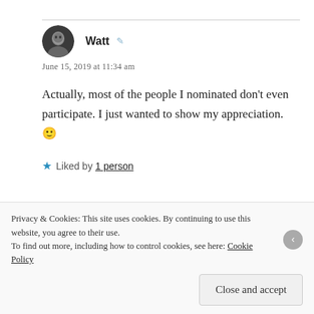[Figure (other): Avatar image of user Watt — circular grayscale portrait photo]
Watt
June 15, 2019 at 11:34 am
Actually, most of the people I nominated don't even participate. I just wanted to show my appreciation. 🙂
★ Liked by 1 person
[Figure (other): Avatar image of user DanaR — circular dark logo/icon]
DanaR
June 15, 2019 at 6:12 pm
Privacy & Cookies: This site uses cookies. By continuing to use this website, you agree to their use.
To find out more, including how to control cookies, see here: Cookie Policy
Close and accept